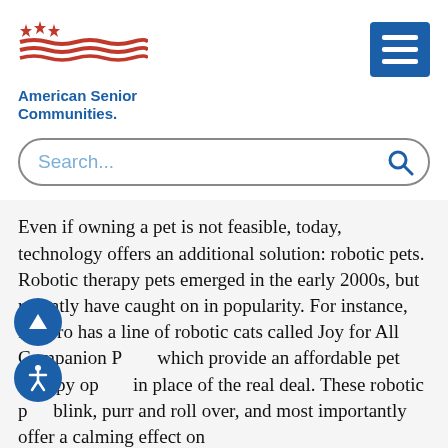[Figure (logo): American Senior Communities logo with red stars and wavy lines, and blue text 'American Senior Communities.']
[Figure (screenshot): Blue hamburger menu button (three white horizontal bars on blue background)]
[Figure (screenshot): Search bar with placeholder text 'Search...' and a blue search icon]
Even if owning a pet is not feasible, today, technology offers an additional solution: robotic pets. Robotic therapy pets emerged in the early 2000s, but recently have caught on in popularity. For instance, Hasbro has a line of robotic cats called Joy for All Companion Pets, which provide an affordable pet therapy option in place of the real deal. These robotic pets blink, purr and roll over, and most importantly offer a calming effect on